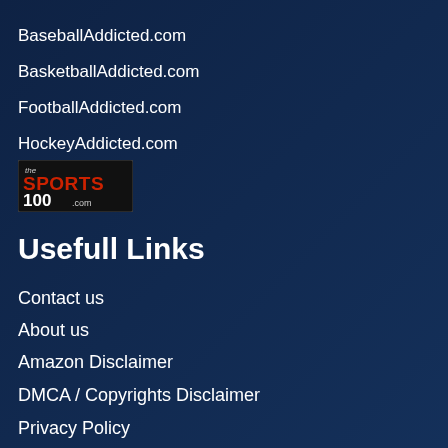BaseballAddicted.com
BasketballAddicted.com
FootballAddicted.com
HockeyAddicted.com
[Figure (logo): The Sports 100 .com logo badge with red and white text on black background]
Usefull Links
Contact us
About us
Amazon Disclaimer
DMCA / Copyrights Disclaimer
Privacy Policy